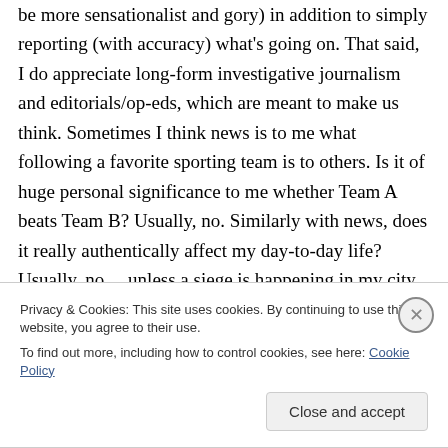be more sensationalist and gory) in addition to simply reporting (with accuracy) what's going on. That said, I do appreciate long-form investigative journalism and editorials/op-eds, which are meant to make us think. Sometimes I think news is to me what following a favorite sporting team is to others. Is it of huge personal significance to me whether Team A beats Team B? Usually, no. Similarly with news, does it really authentically affect my day-to-day life? Usually, no… unless a siege is happening in my city or neighborhood
Privacy & Cookies: This site uses cookies. By continuing to use this website, you agree to their use.
To find out more, including how to control cookies, see here: Cookie Policy